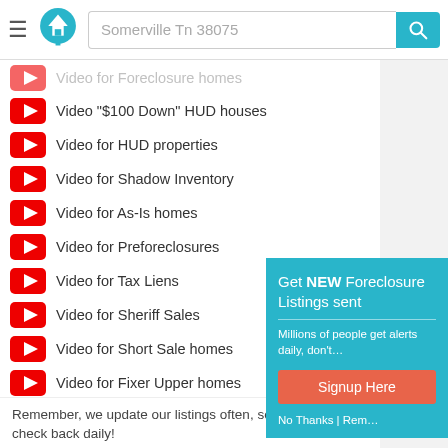Somerville Tn 38075
Video for Foreclosure homes
Video "$100 Down" HUD houses
Video for HUD properties
Video for Shadow Inventory
Video for As-Is homes
Video for Preforeclosures
Video for Tax Liens
Video for Sheriff Sales
Video for Short Sale homes
Video for Fixer Upper homes
Video for Bankruptcy homes
Video for City Owned homes
Video for Rent to Own homes
[Figure (infographic): Popup: Get NEW Foreclosure Listings sent. Millions of people get alerts daily, don't... Signup Here button and No Thanks | Rem... link]
Remember, we update our listings often, so be sure to check back daily!